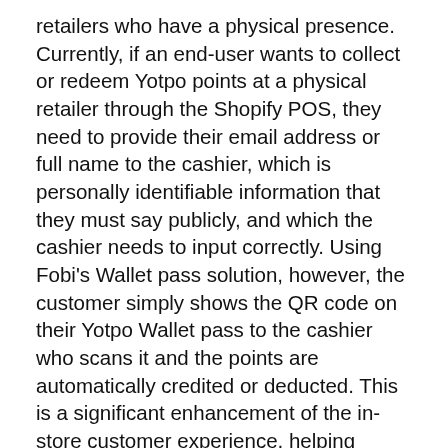retailers who have a physical presence.  Currently, if an end-user wants to collect or redeem Yotpo points at a physical retailer through the Shopify POS, they need to provide their email address or full name to the cashier, which is personally identifiable information that they must say publicly, and which the cashier needs to input correctly.  Using Fobi's Wallet pass solution, however, the customer simply shows the QR code on their Yotpo Wallet pass to the cashier who scans it and the points are automatically credited or deducted.  This is a significant enhancement of the in-store customer experience, helping offline retailers compete against the online Ecommerce giants.
Fobi CEO Rob Anson stated, “We have been working for quite some time on the launch of the Fobi mobile wallet loyalty and rewards offering. We believe that the Fobi mobile wallet technology is well suited to deliver the next evolution in loyalty and rewards and with our partnership with Yotpo